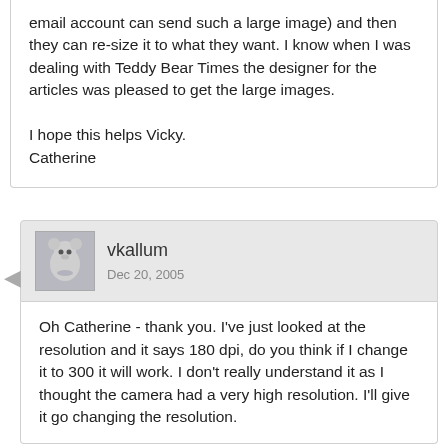email account can send such a large image) and then they can re-size it to what they want.  I know when I was dealing with Teddy Bear Times the designer for the articles was pleased to get the large images.

I hope this helps Vicky.
Catherine
vkallum
Dec 20, 2005
Oh Catherine - thank you.  I've just looked at the resolution and it says 180 dpi, do you think if I change it to 300 it will work.  I don't really understand it as I thought the camera had a very high resolution.  I'll give it go changing the resolution.